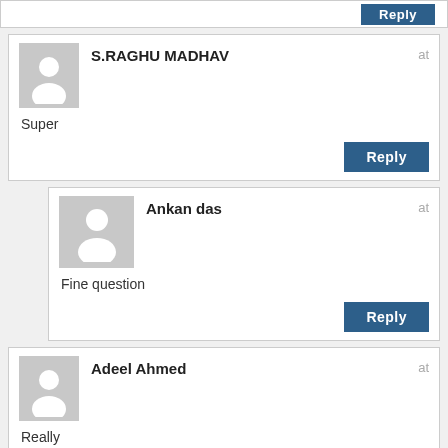Reply
S.RAGHU MADHAV
at
Super
Reply
Ankan das
at
Fine question
Reply
Adeel Ahmed
at
Really
Reply